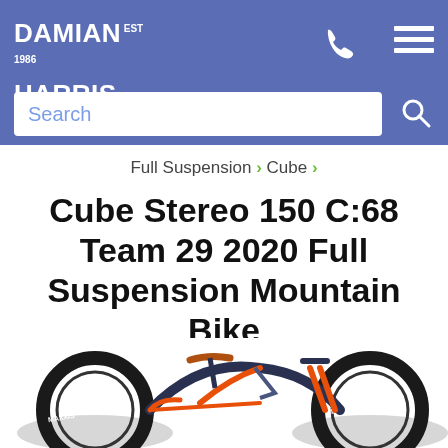DAMIAN HARRIS CYCLES est 1986
Search
Full Suspension > Cube >
Cube Stereo 150 C:68 Team 29 2020 Full Suspension Mountain Bike
[Figure (photo): Partial photo of a Cube Stereo 150 C:68 Team 29 2020 full suspension mountain bike in dark navy/carbon and orange colorway, showing front fork with Maxxis tires, saddle, and frame.]